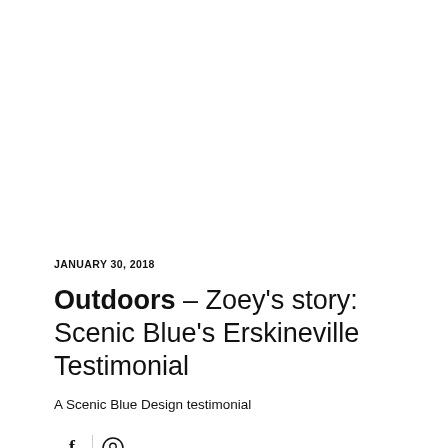JANUARY 30, 2018
Outdoors – Zoey's story: Scenic Blue's Erskineville Testimonial
A Scenic Blue Design testimonial